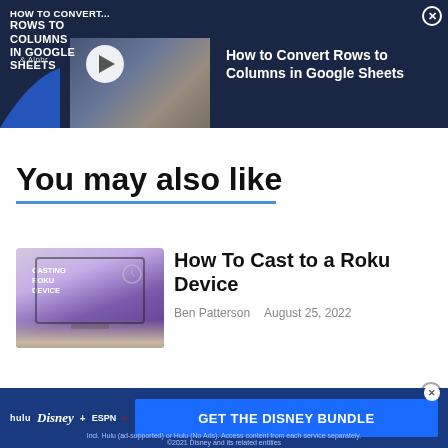[Figure (screenshot): Video ad banner for 'How to Convert Rows to Columns in Google Sheets' with dark navy background, video thumbnail on left with play button, title on right, and close button]
How to Convert Rows to Columns in Google Sheets
You may also like
[Figure (screenshot): Article card thumbnail showing 'Casting Roku Device' TV screen in a room setting]
How To Cast to a Roku Device
Ben Patterson    August 25, 2022
[Figure (screenshot): Partial second article card thumbnail with blue/dark background, partially visible]
[Figure (screenshot): Bottom advertisement banner: hulu Disney+ ESPN+ GET THE DISNEY BUNDLE. Incl. Hulu (ad-supported) or Hulu (No Ads). Access content from each service separately. ©2021 Disney and its related entities]